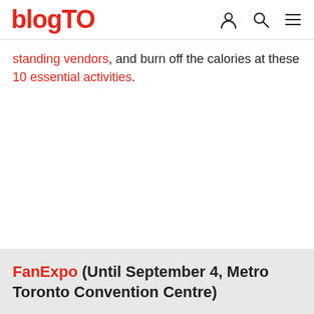blogTO
standing vendors, and burn off the calories at these 10 essential activities.
FanExpo (Until September 4, Metro Toronto Convention Centre)